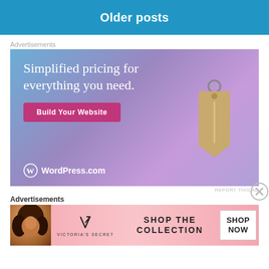Older posts
Advertisements
[Figure (screenshot): WordPress.com advertisement: 'Simplified pricing for everything you need.' with a 'Build Your Website' button and a price tag graphic. WordPress.com logo at bottom left.]
REPORT THIS AD
Advertisements
[Figure (screenshot): Victoria's Secret advertisement showing a model, Victoria's Secret logo, 'SHOP THE COLLECTION' text, and a 'SHOP NOW' button on a pink background.]